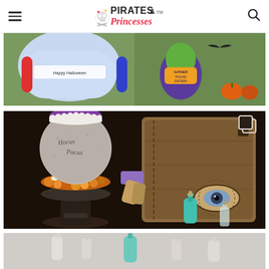Pirates & Princesses
[Figure (photo): Top portion of page showing Halloween inflatable decorations on a lawn — left side shows a large inflatable with 'Happy Halloween' text, right side shows a witch inflatable with 'Gather Round Sisters' sign and pumpkins in background.]
[Figure (photo): Main large photo showing Hocus Pocus themed Halloween decorations: a stone-look cauldron/ball inscribed with 'Hocus Pocus' on a dark pedestal stand surrounded by orange gem stones and bone decorations, next to a large aged brown spell book with an eye detail, small potion bottles including a teal/green bottle, purple bar and scroll props on a dark surface.]
[Figure (photo): Bottom partial photo showing small glass potion bottles and similar Halloween decoration items against a light background.]